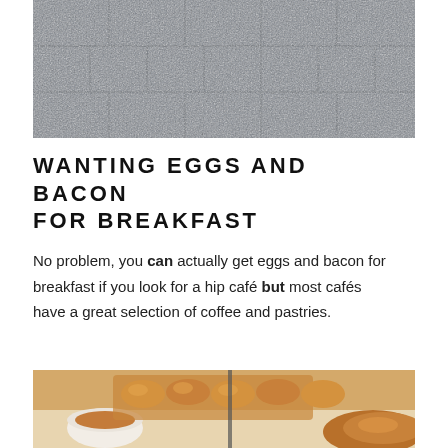[Figure (photo): Gray stone tile pavement/floor viewed from above, filling the top portion of the image]
WANTING EGGS AND BACON FOR BREAKFAST
No problem, you can actually get eggs and bacon for breakfast if you look for a hip café but most cafés have a great selection of coffee and pastries.
[Figure (photo): Close-up of pastries including croissants on a tray and a white cup of coffee, warm toned food photography]